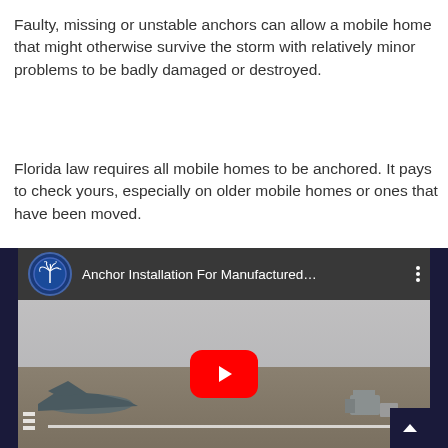Faulty, missing or unstable anchors can allow a mobile home that might otherwise survive the storm with relatively minor problems to be badly damaged or destroyed.
Florida law requires all mobile homes to be anchored. It pays to check yours, especially on older mobile homes or ones that have been moved.
[Figure (screenshot): YouTube video thumbnail showing 'Anchor Installation For Manufactured...' with a channel icon featuring a palm tree on a dark blue background, video showing aerial view of an airport with debris, and a red YouTube play button in the center.]